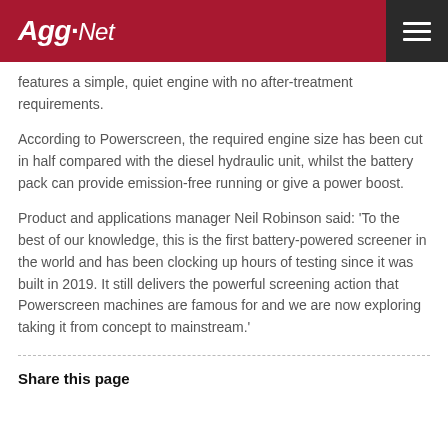Agg-Net
features a simple, quiet engine with no after-treatment requirements.
According to Powerscreen, the required engine size has been cut in half compared with the diesel hydraulic unit, whilst the battery pack can provide emission-free running or give a power boost.
Product and applications manager Neil Robinson said: 'To the best of our knowledge, this is the first battery-powered screener in the world and has been clocking up hours of testing since it was built in 2019. It still delivers the powerful screening action that Powerscreen machines are famous for and we are now exploring taking it from concept to mainstream.'
Share this page